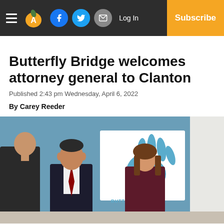Clanton Advertiser — Navigation bar with hamburger menu, logo, social icons, Log In, Subscribe
Butterfly Bridge welcomes attorney general to Clanton
Published 2:43 pm Wednesday, April 6, 2022
By Carey Reeder
[Figure (photo): Two people conversing indoors in front of a teal/blue wall with a Butterfly Bridge sign featuring a blue handprint logo. A man in a dark suit with red tie faces a woman in burgundy. Another person in a dark suit is partially visible on the left.]